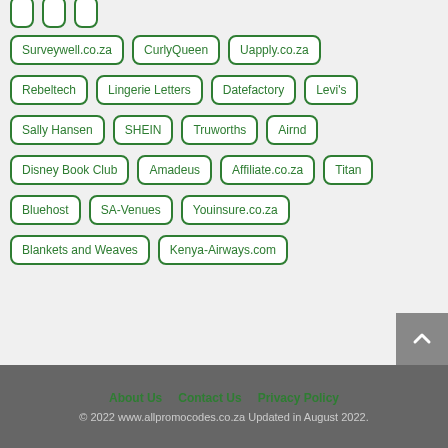Surveywell.co.za
CurlyQueen
Uapply.co.za
Rebeltech
Lingerie Letters
Datefactory
Levi's
Sally Hansen
SHEIN
Truworths
Airnd
Disney Book Club
Amadeus
Affiliate.co.za
Titan
Bluehost
SA-Venues
Youinsure.co.za
Blankets and Weaves
Kenya-Airways.com
About Us   Contact Us   Privacy Policy
© 2022 www.allpromocodes.co.za Updated in August 2022.